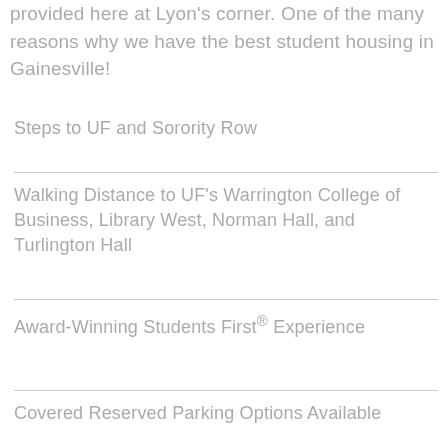provided here at Lyon's corner. One of the many reasons why we have the best student housing in Gainesville!
Steps to UF and Sorority Row
Walking Distance to UF's Warrington College of Business, Library West, Norman Hall, and Turlington Hall
Award-Winning Students First® Experience
Covered Reserved Parking Options Available